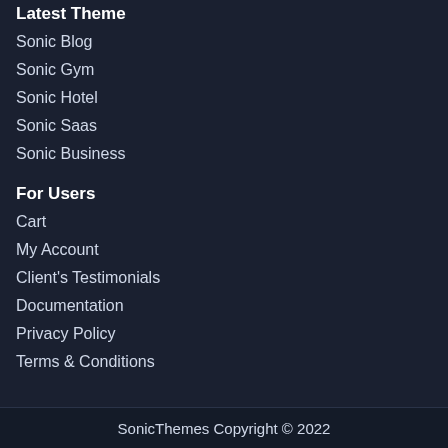Latest Theme
Sonic Blog
Sonic Gym
Sonic Hotel
Sonic Saas
Sonic Business
For Users
Cart
My Account
Client's Testimonials
Documentation
Privacy Policy
Terms & Conditions
SonicThemes Copyright © 2022